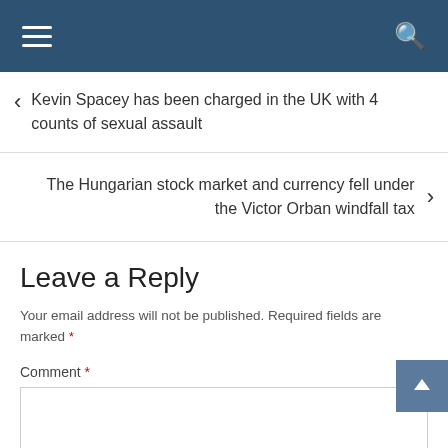Navigation bar with hamburger menu and search icon
Kevin Spacey has been charged in the UK with 4 counts of sexual assault
The Hungarian stock market and currency fell under the Victor Orban windfall tax
Leave a Reply
Your email address will not be published. Required fields are marked *
Comment *